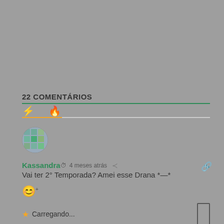22 COMENTÁRIOS
Kassandra  4 meses atrás
Vai ter 2° Temporada? Amei esse Drana *—*
★ Carregando...
0  Responder